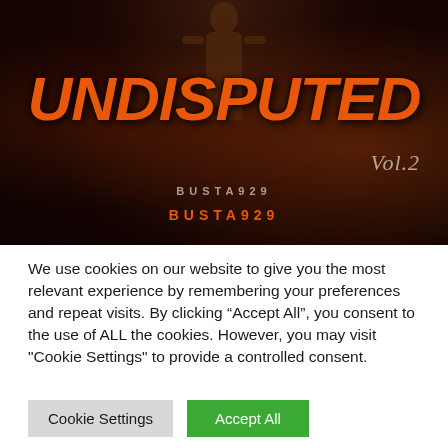[Figure (illustration): Book cover image for 'UNDISPUTED Vol. 2' by BUSTA929. Dark reddish-brown background with fire/ember effects, silhouette of a muscular figure at top, large bold orange italic text 'UNDISPUTED', 'Vol.2' in cursive at top right, author name 'BUSTA929' displayed twice in smaller text.]
We use cookies on our website to give you the most relevant experience by remembering your preferences and repeat visits. By clicking “Accept All”, you consent to the use of ALL the cookies. However, you may visit "Cookie Settings" to provide a controlled consent.